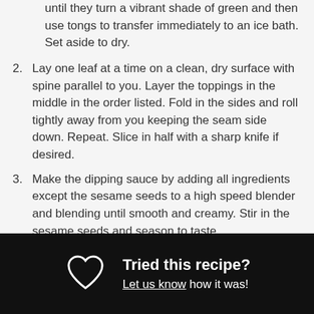until they turn a vibrant shade of green and then use tongs to transfer immediately to an ice bath. Set aside to dry.
2. Lay one leaf at a time on a clean, dry surface with spine parallel to you. Layer the toppings in the middle in the order listed. Fold in the sides and roll tightly away from you keeping the seam side down. Repeat. Slice in half with a sharp knife if desired.
3. Make the dipping sauce by adding all ingredients except the sesame seeds to a high speed blender and blending until smooth and creamy. Stir in the sesame seeds and season to taste.
4. Serve the wraps chilled with dipping sauce! Can be stored in air tight containers for up to 5 days for easy lunches!
Tried this recipe? Let us know how it was!